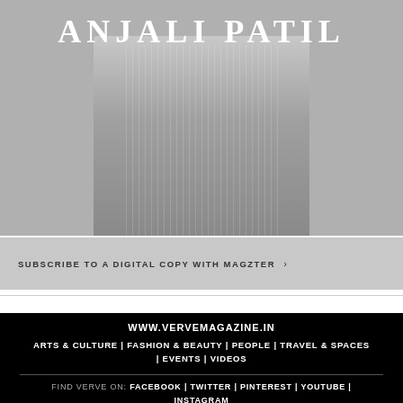[Figure (photo): Black and white photo of a person wearing a ribbed knit dress, with the name ANJALI PATIL overlaid in large white serif letters at the top]
SUBSCRIBE TO A DIGITAL COPY WITH MAGZTER >
WWW.VERVEMAGAZINE.IN | ARTS & CULTURE | FASHION & BEAUTY | PEOPLE | TRAVEL & SPACES | EVENTS | VIDEOS | FIND VERVE ON: FACEBOOK | TWITTER | PINTEREST | YOUTUBE | INSTAGRAM | ABOUT US | ADVERTISE | ARCHIVES | DISCLAIMER |